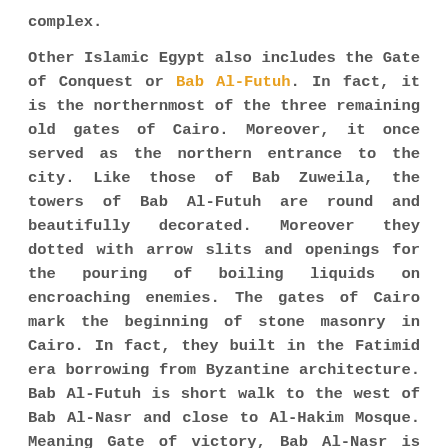complex.

Other Islamic Egypt also includes the Gate of Conquest or Bab Al-Futuh. In fact, it is the northernmost of the three remaining old gates of Cairo. Moreover, it once served as the northern entrance to the city. Like those of Bab Zuweila, the towers of Bab Al-Futuh are round and beautifully decorated. Moreover they dotted with arrow slits and openings for the pouring of boiling liquids on encroaching enemies. The gates of Cairo mark the beginning of stone masonry in Cairo. In fact, they built in the Fatimid era borrowing from Byzantine architecture. Bab Al-Futuh is short walk to the west of Bab Al-Nasr and close to Al-Hakim Mosque. Meaning Gate of victory, Bab Al-Nasr is one of Cairo's old gates. In fact, it built in 1087 and served as one of the northern gates to the Fatimid Cairo.